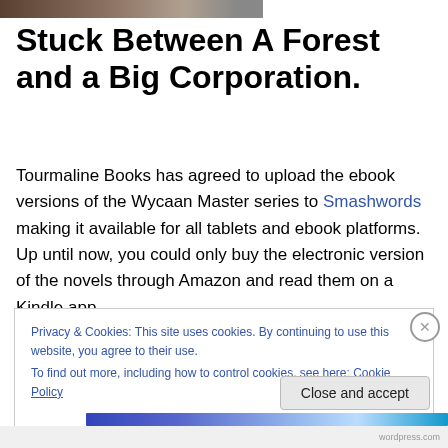[Figure (photo): Partial image at top of page showing a dark forest/outdoor scene with utility poles visible]
Stuck Between A Forest and a Big Corporation.
Tourmaline Books has agreed to upload the ebook versions of the Wycaan Master series to Smashwords making it available for all tablets and ebook platforms. Up until now, you could only buy the electronic version of the novels through Amazon and read them on a Kindle app.
Privacy & Cookies: This site uses cookies. By continuing to use this website, you agree to their use.
To find out more, including how to control cookies, see here: Cookie Policy
Close and accept